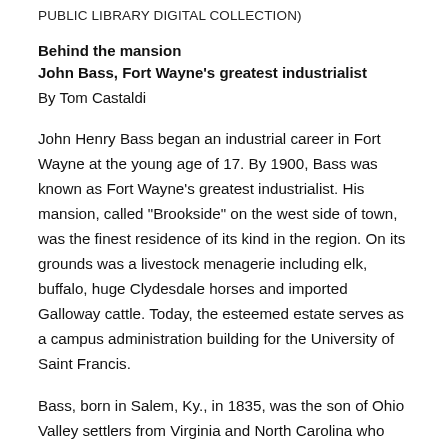PUBLIC LIBRARY DIGITAL COLLECTION)
Behind the mansion
John Bass, Fort Wayne’s greatest industrialist
By Tom Castaldi
John Henry Bass began an industrial career in Fort Wayne at the young age of 17. By 1900, Bass was known as Fort Wayne’s greatest industrialist. His mansion, called “Brookside” on the west side of town, was the finest residence of its kind in the region. On its grounds was a livestock menagerie including elk, buffalo, huge Clydesdale horses and imported Galloway cattle. Today, the esteemed estate serves as a campus administration building for the University of Saint Francis.
Bass, born in Salem, Ky., in 1835, was the son of Ohio Valley settlers from Virginia and North Carolina who had